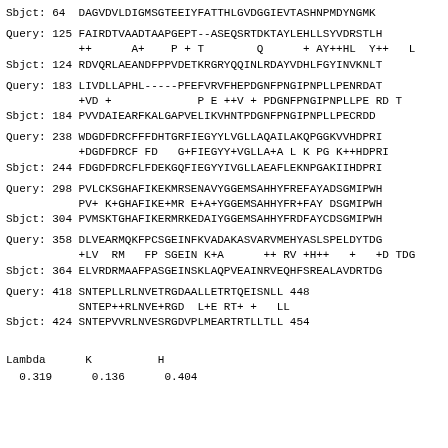Sbjct: 64  DAGVDVLDIGMSGTEEIYFATTHLGVDGGIEVTASHNPMDYNGMK
Query: 125 FAIRDTVAADTAAPGEPT--ASEQSRTDKTAYLEHLLSYVDRSTLH
           ++      A+    P + T        Q      + AY++HL  Y++   L
Sbjct: 124 RDVQRLAEANDFPPVDETKRGRYQQINLRDAYVDHLFGYINVKNLT
Query: 183 LIVDLLAPHL-----PFEFVRVFHEPDGNFPNGIPNPLLPENRDAT
           +VD +             P E ++V + PDGNFPNGIPNPLLPE RD T
Sbjct: 184 PVVDAIEARFKALGAPVELIKVHNTPDGNFPNGIPNPLLPECRDD
Query: 238 WDGDFDRCFFFDHTGRFIEGYYLVGLLAQAILAKQPGGKVVHDPRI
           +DGDFDRCF FD   G+FIEGYY+VGLLA+A L K PG K++HDPRI
Sbjct: 244 FDGDFDRCFLFDEKGQFIEGYYIVGLLAEAFLEKNPGAKIIHDPRI
Query: 298 PVLCKSGHAFIKEKMRSENAVYGGEMSAHHYFREFAYADSGMIPWH
           PV+ K+GHAFIKE+MR E+A+YGGEMSAHHYFR+FAY DSGMIPWH
Sbjct: 304 PVMSKTGHAFIKERMRKEDAIYGGEMSAHHYFRDFAYCDSGMIPWH
Query: 358 DLVEARMQKFPCSGEINFKVADAKASVARVMEHYASLSPELDYTDG
           +LV  RM   FP SGEIN K+A      ++ RV +H++   +   +D TDG
Sbjct: 364 ELVRDRMAAFPASGEINSKLAQPVEAINRVEQHFSREALAVDRTDG
Query: 418 SNTEPLLRLNVETRGDAALLETRTQEISNLL 448
           SNTEP++RLNVE+RGD  L+E RT+ +   LL
Sbjct: 424 SNTEPVVRLNVESRGDVPLMEARTRTLLTLL 454
| Lambda | K | H |
| --- | --- | --- |
| 0.319 | 0.136 | 0.404 |